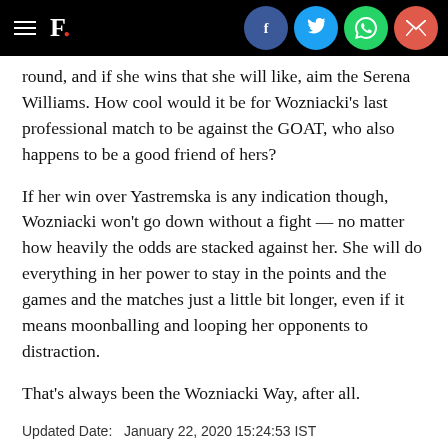F. [with social share icons: Facebook, Twitter, WhatsApp, Email]
round, and if she wins that she will like, aim the Serena Williams. How cool would it be for Wozniacki’s last professional match to be against the GOAT, who also happens to be a good friend of hers?
If her win over Yastremska is any indication though, Wozniacki won’t go down without a fight — no matter how heavily the odds are stacked against her. She will do everything in her power to stay in the points and the games and the matches just a little bit longer, even if it means moonballing and looping her opponents to distraction.
That’s always been the Wozniacki Way, after all.
Updated Date:   January 22, 2020 15:24:53 IST
TAGS: Australian Open | Australian Open 2020 | Australian Ope